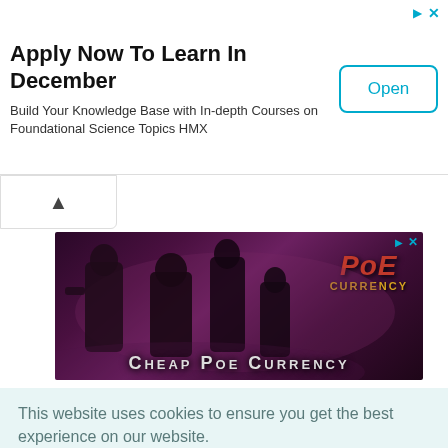[Figure (other): Advertisement banner: 'Apply Now To Learn In December' with subtitle 'Build Your Knowledge Base with In-depth Courses on Foundational Science Topics HMX' and an Open button]
[Figure (photo): Game advertisement image showing dark fantasy characters with text 'Cheap Poe Currency' and 'PoE Currency' logo]
This website uses cookies to ensure you get the best experience on our website.
Cookie Policy
Got it!